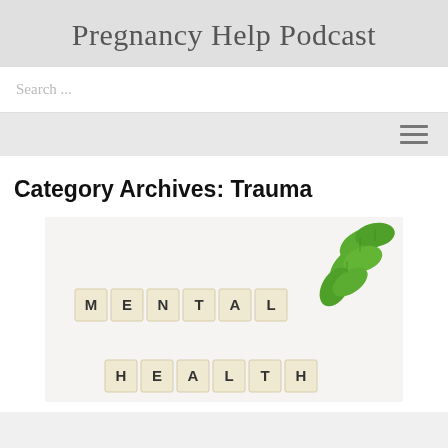Pregnancy Help Podcast
Search ...
Category Archives: Trauma
[Figure (photo): Photo of scrabble tiles spelling 'MENTAL' on the top row and 'HEALTH' on the bottom row, with a green leafy plant branch in the upper right corner, all on a white background.]